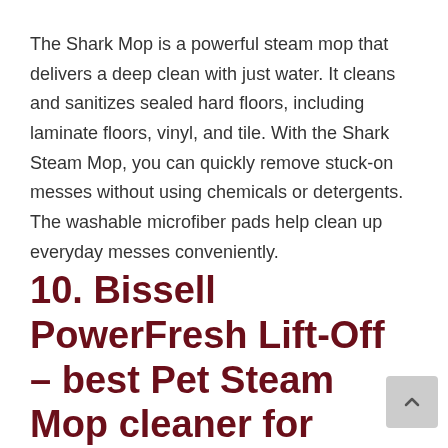The Shark Mop is a powerful steam mop that delivers a deep clean with just water. It cleans and sanitizes sealed hard floors, including laminate floors, vinyl, and tile. With the Shark Steam Mop, you can quickly remove stuck-on messes without using chemicals or detergents. The washable microfiber pads help clean up everyday messes conveniently.
10. Bissell PowerFresh Lift-Off – best Pet Steam Mop cleaner for laminate